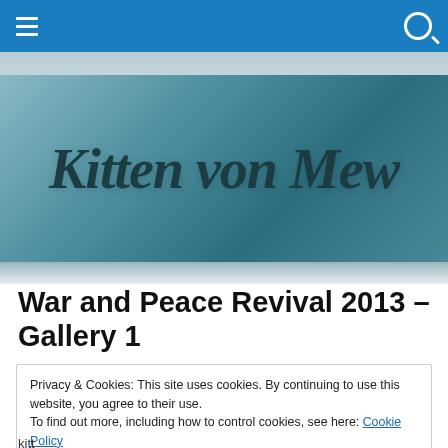Navigation bar with hamburger menu and search icon
[Figure (illustration): Banner with script/cursive text reading 'Kitten von Mew' on a teal/blue-green gradient background]
War and Peace Revival 2013 – Gallery 1
Privacy & Cookies: This site uses cookies. By continuing to use this website, you agree to their use.
To find out more, including how to control cookies, see here: Cookie Policy
Close and accept
kitt…